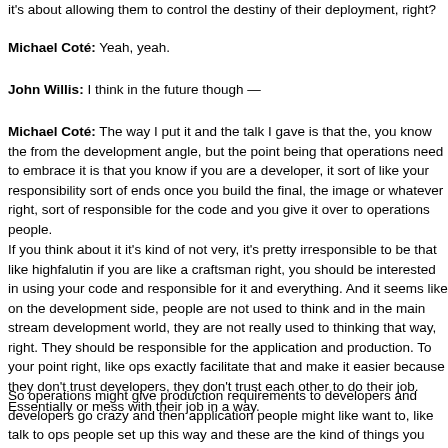it's about allowing them to control the destiny of their deployment, right?
Michael Coté: Yeah, yeah.
John Willis: I think in the future though —
Michael Coté: The way I put it and the talk I gave is that the, you know the from the development angle, but the point being that operations need to embrace it is that you know if you are a developer, it sort of like your responsibility sort of ends once you build the final, the image or whatever right, sort of responsible for the code and you give it over to operations people.
If you think about it it's kind of not very, it's pretty irresponsible to be that like highfalutin if you are like a craftsman right, you should be interested in using your code and responsible for it and everything. And it seems like on the development side, people are not used to think and in the main stream development world, they are not really used to thinking that way, right. They should be responsible for the application and production. To your point right, like ops exactly facilitate that and make it easier because they don't trust developers, they don't trust each other to do their job. Essentially or mess with their job in a way.
So operations might give production requirements to developers and developers go crazy and then application people might like want to, like talk to ops people set up this way and these are the kind of things you should do and everything. And it seems like there should be, there is, there used to be a lot more sharing